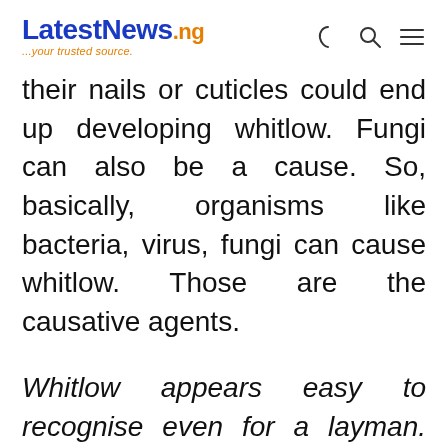LatestNews.ng ...your trusted source.
their nails or cuticles could end up developing whitlow. Fungi can also be a cause. So, basically, organisms like bacteria, virus, fungi can cause whitlow. Those are the causative agents.
Whitlow appears easy to recognise even for a layman. Will it be compulsory to have it diagnosed in the